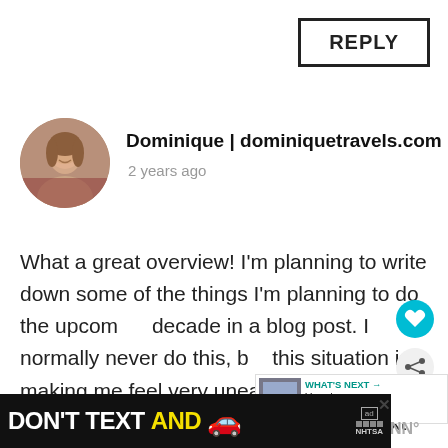REPLY
Dominique | dominiquetravels.com
2 years ago
[Figure (photo): Circular avatar photo of a woman smiling, seated in a red interior environment]
What a great overview! I'm planning to write down some of the things I'm planning to do the upcoming decade in a blog post. I normally never do this, but this situation is making me feel very uneasy. I feel that if I write it down it will happen. Hope the next ten years are just as succesful as the first ten!
[Figure (screenshot): Ad banner: DON'T TEXT AND [car emoji] with NHTSA branding and ad badge]